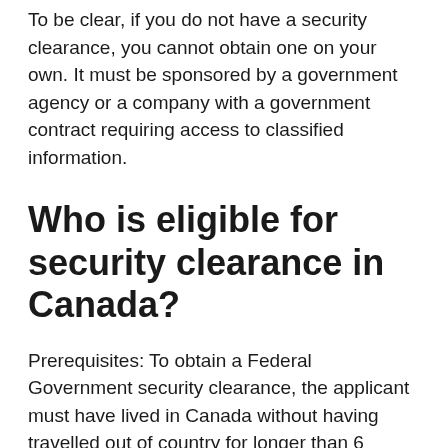To be clear, if you do not have a security clearance, you cannot obtain one on your own. It must be sponsored by a government agency or a company with a government contract requiring access to classified information.
Who is eligible for security clearance in Canada?
Prerequisites: To obtain a Federal Government security clearance, the applicant must have lived in Canada without having travelled out of country for longer than 6 months during the last 5 years for Reliability Clearances & 10 years for